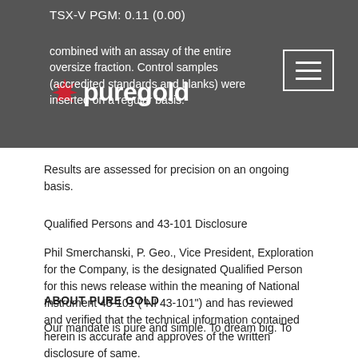TSX-V PGM: 0.11 (0.00)
combined with an assay of the entire oversize fraction. Control samples (accredited standards and blanks) were inserted on a regular basis.
Results are assessed for precision on an ongoing basis.
Qualified Persons and 43-101 Disclosure
Phil Smerchanski, P. Geo., Vice President, Exploration for the Company, is the designated Qualified Person for this news release within the meaning of National Instrument 43-101 (“NI 43-101”) and has reviewed and verified that the technical information contained herein is accurate and approves of the written disclosure of same.
ABOUT PURE GOLD
Our mandate is pure and simple. To dream big. To